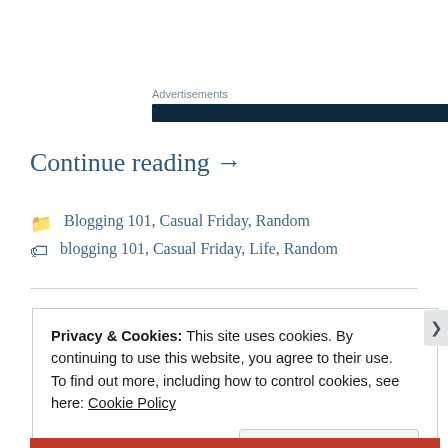Advertisements
Continue reading →
Blogging 101, Casual Friday, Random
blogging 101, Casual Friday, Life, Random
Privacy & Cookies: This site uses cookies. By continuing to use this website, you agree to their use. To find out more, including how to control cookies, see here: Cookie Policy
Close and accept